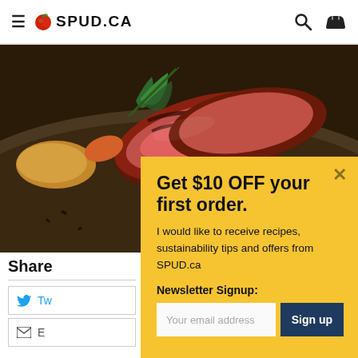SPUD.CA
[Figure (photo): Close-up photo of a plated rare steak with herbs and garnishes on a dark plate, dark brown background]
Share
Twitter
Email
Get $10 OFF your first order.
I would like to receive recipes, sustainability tips and offers from SPUD.ca
Newsletter Signup:
Your email address
Sign up